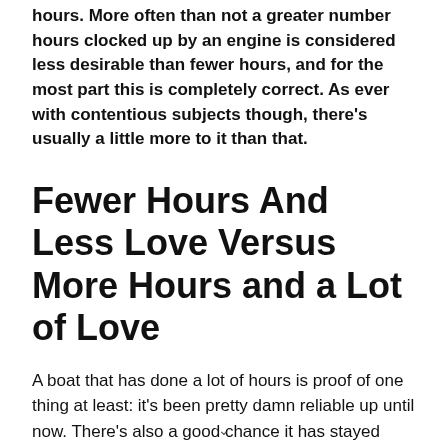hours. More often than not a greater number hours clocked up by an engine is considered less desirable than fewer hours, and for the most part this is completely correct. As ever with contentious subjects though, there's usually a little more to it than that.
Fewer Hours And Less Love Versus More Hours and a Lot of Love
A boat that has done a lot of hours is proof of one thing at least: it's been pretty damn reliable up until now. There's also a good chance it has stayed reliable for as